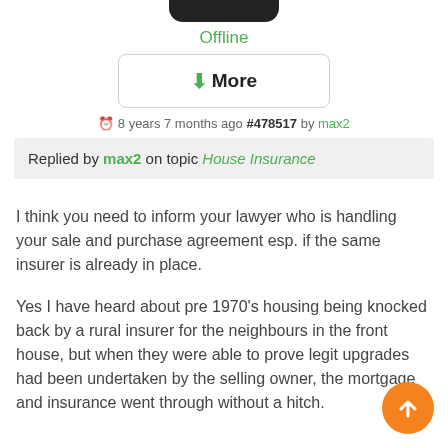[Figure (other): Top phone notch / black rounded bar at top center]
Offline
[Figure (other): More button with green downward arrow]
8 years 7 months ago #478517 by max2
Replied by max2 on topic House Insurance
I think you need to inform your lawyer who is handling your sale and purchase agreement esp. if the same insurer is already in place.

Yes I have heard about pre 1970's housing being knocked back by a rural insurer for the neighbours in the front house, but when they were able to prove legit upgrades had been undertaken by the selling owner, the mortgage and insurance went through without a hitch.